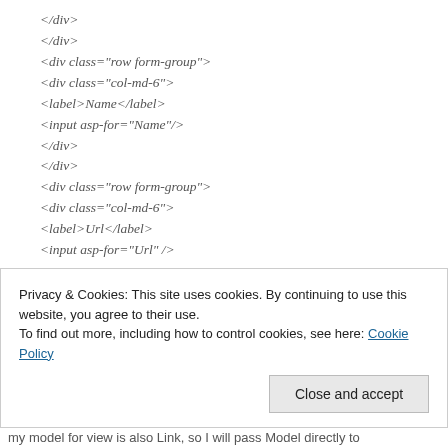</div>
</div>
<div class="row form-group">
<div class="col-md-6">
<label>Name</label>
<input asp-for="Name"/>
</div>
</div>
<div class="row form-group">
<div class="col-md-6">
<label>Url</label>
<input asp-for="Url" />
Privacy & Cookies: This site uses cookies. By continuing to use this website, you agree to their use.
To find out more, including how to control cookies, see here: Cookie Policy
Close and accept
my model for view is also Link, so I will pass Model directly to